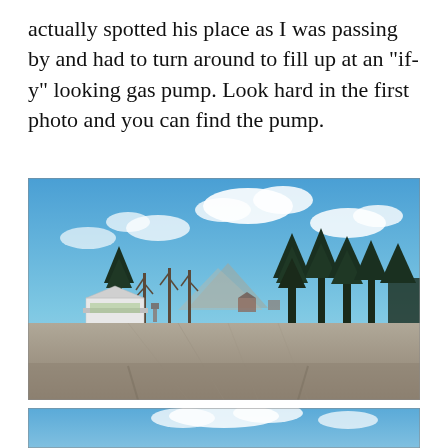actually spotted his place as I was passing by and had to turn around to fill up at an “if-y” looking gas pump. Look hard in the first photo and you can find the pump.
[Figure (photo): Outdoor photo of a rural small-town setting in what appears to be Alaska or northern Canada. The scene shows a wide gravel/dirt lot or road, with a small white building/canopy structure on the left, sparse bare-branched trees and evergreen spruce trees in the background, mountains in the distance, and a bright blue sky with white clouds. A gas pump is barely visible near the white structure.]
[Figure (photo): Bottom portion of a second outdoor photo showing the top of a blue sky with clouds, partially cut off at the bottom of the page.]